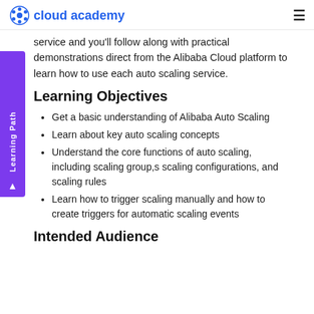cloud academy
service and you'll follow along with practical demonstrations direct from the Alibaba Cloud platform to learn how to use each auto scaling service.
Learning Objectives
Get a basic understanding of Alibaba Auto Scaling
Learn about key auto scaling concepts
Understand the core functions of auto scaling, including scaling group,s scaling configurations, and scaling rules
Learn how to trigger scaling manually and how to create triggers for automatic scaling events
Intended Audience